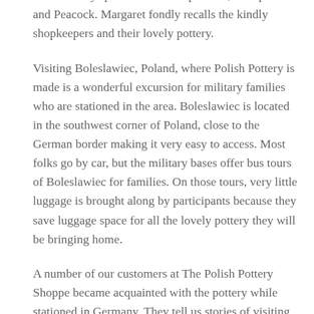a shop full of Ceramika Artystyczna Polish Pottery. She instantly spied her favorite patterns, Mosquito and Peacock. Margaret fondly recalls the kindly shopkeepers and their lovely pottery.
Visiting Boleslawiec, Poland, where Polish Pottery is made is a wonderful excursion for military families who are stationed in the area. Boleslawiec is located in the southwest corner of Poland, close to the German border making it very easy to access. Most folks go by car, but the military bases offer bus tours of Boleslawiec for families. On those tours, very little luggage is brought along by participants because they save luggage space for all the lovely pottery they will be bringing home.
A number of our customers at The Polish Pottery Shoppe became acquainted with the pottery while stationed in Germany. They tell us stories of visiting numerous factories to see Polish Pottery made, such as Cermika Artystyczna, Manufaktura, Andy's, Kalich, and W. R. Ceramika. It is such fun to hear their stories and watch their collections continue to grow.